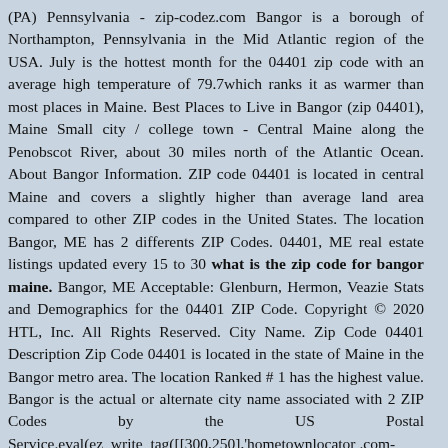(PA) Pennsylvania - zip-codez.com Bangor is a borough of Northampton, Pennsylvania in the Mid Atlantic region of the USA. July is the hottest month for the 04401 zip code with an average high temperature of 79.7which ranks it as warmer than most places in Maine. Best Places to Live in Bangor (zip 04401), Maine Small city / college town - Central Maine along the Penobscot River, about 30 miles north of the Atlantic Ocean. About Bangor Information. ZIP code 04401 is located in central Maine and covers a slightly higher than average land area compared to other ZIP codes in the United States. The location Bangor, ME has 2 differents ZIP Codes. 04401, ME real estate listings updated every 15 to 30 what is the zip code for bangor maine. Bangor, ME Acceptable: Glenburn, Hermon, Veazie Stats and Demographics for the 04401 ZIP Code. Copyright © 2020 HTL, Inc. All Rights Reserved. City Name. Zip Code 04401 Description Zip Code 04401 is located in the state of Maine in the Bangor metro area. The location Ranked # 1 has the highest value. Bangor is the actual or alternate city name associated with 2 ZIP Codes by the US Postal Service.eval(ez_write_tag([[300,250],'hometownlocator.com-